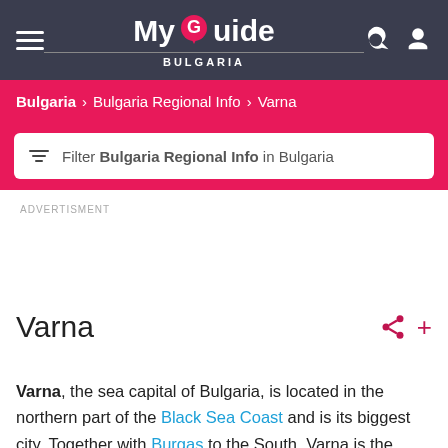My Guide BULGARIA
Bulgaria > Bulgaria Regional Info > Varna
Filter Bulgaria Regional Info in Bulgaria
ADVERTISMENT
Varna
Varna, the sea capital of Bulgaria, is located in the northern part of the Black Sea Coast and is its biggest city. Together with Burgas to the South, Varna is the main cultural and entertainment centre in this part of Bulgaria and connects the whole country (and Europe) to the beautiful sea shore. Every year thousands of tourists arrive at